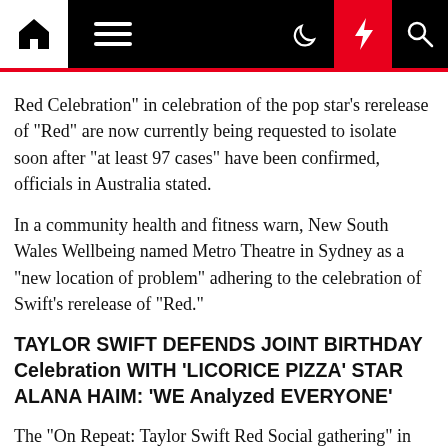[Navigation bar with home, menu, night mode, lightning, search icons]
Red Celebration" in celebration of the pop star's rerelease of "Red" are now currently being requested to isolate soon after "at least 97 cases" have been confirmed, officials in Australia stated.
In a community health and fitness warn, New South Wales Wellbeing named Metro Theatre in Sydney as a "new location of problem" adhering to the celebration of Swift's rerelease of "Red."
TAYLOR SWIFT DEFENDS JOINT BIRTHDAY Celebration WITH 'LICORICE PIZZA' STAR ALANA HAIM: 'WE Analyzed EVERYONE'
The "On Repeat: Taylor Swift Red Social gathering" in Sydney, Australia, resulted in approximately 100 tests optimistic for COVID-19.
(AP)
We...